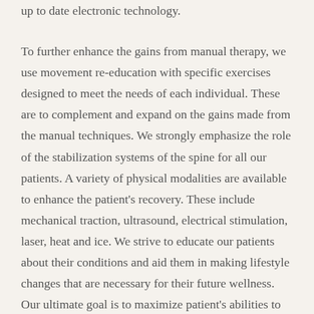up to date electronic technology.
To further enhance the gains from manual therapy, we use movement re-education with specific exercises designed to meet the needs of each individual. These are to complement and expand on the gains made from the manual techniques. We strongly emphasize the role of the stabilization systems of the spine for all our patients. A variety of physical modalities are available to enhance the patient's recovery. These include mechanical traction, ultrasound, electrical stimulation, laser, heat and ice. We strive to educate our patients about their conditions and aid them in making lifestyle changes that are necessary for their future wellness. Our ultimate goal is to maximize patient's abilities to function and thus improve their quality of life.